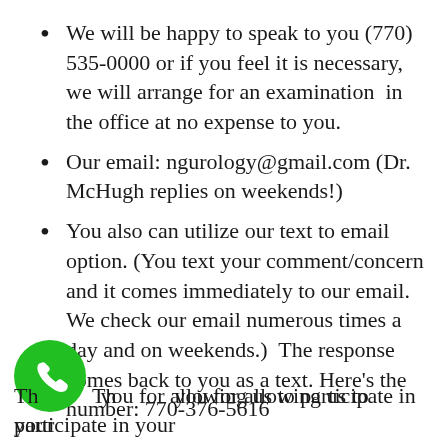We will be happy to speak to you (770) 535-0000 or if you feel it is necessary, we will arrange for an examination in the office at no expense to you.
Our email: ngurology@gmail.com (Dr. McHugh replies on weekends!)
You also can utilize our text to email option. (You text your comment/concern and it comes immediately to our email.  We check our email numerous times a day and on weekends.)  The response comes back to you as a text. Here’s the number: 770-376-5616
Thank you for allowing us to participate in your